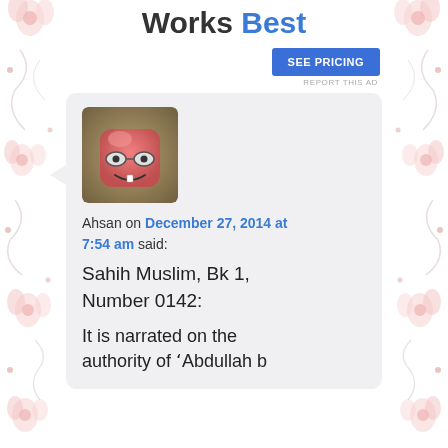Works Best
[Figure (other): SEE PRICING advertisement button (blue rectangle)]
REPORT THIS AD
[Figure (illustration): Comic-style avatar: pink/red character with glasses and a tooth grin, square with rounded corners]
Ahsan on December 27, 2014 at 7:54 am said:
Sahih Muslim, Bk 1, Number 0142:
It is narrated on the authority of 'Abdullah b